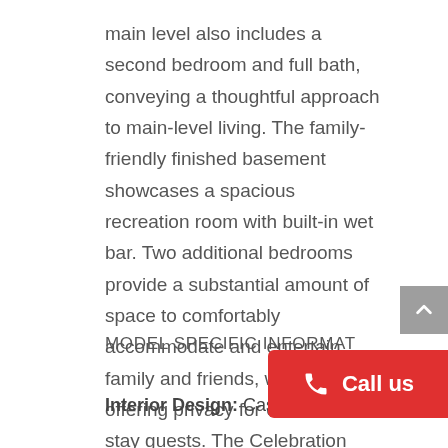main level also includes a second bedroom and full bath, conveying a thoughtful approach to main-level living. The family-friendly finished basement showcases a spacious recreation room with built-in wet bar. Two additional bedrooms provide a substantial amount of space to comfortably accommodate and entertain family and friends, while still offering privacy for extended-stay guests. The Celebration comes with 2.5- and 3-car tandem garages.
MODEL SPECIFIC INFORMAT...
Interior Design: Cassidy Interior Design